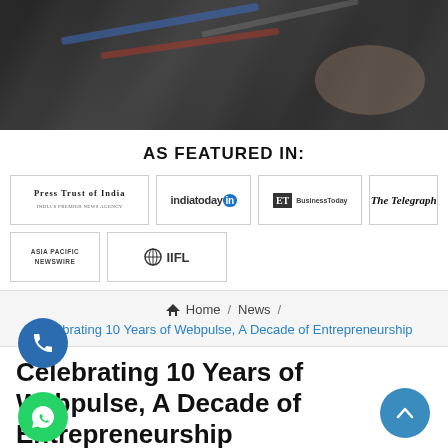[Figure (photo): Dark overlay hero image showing pencils/pens and hands on paper, used as page header background]
AS FEATURED IN:
[Figure (logo): Press Trust of India logo]
[Figure (logo): indiatoday logo]
[Figure (logo): ET (Economic Times) / BusinessToday logo]
[Figure (logo): The Telegraph logo]
[Figure (logo): Asia Pacific Newswire logo]
[Figure (logo): IIFL logo]
Home / News / Celebrating 10 Years of Webpulse, A Decade of Entrepreneurship
Celebrating 10 Years of Webpulse, A Decade of Entrepreneurship